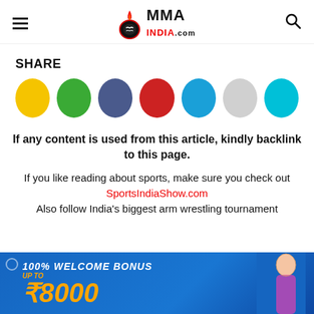MMA INDIA.com
SHARE
[Figure (infographic): Seven colored circles representing social share buttons: yellow, green, dark blue, red, light blue, light gray, cyan]
If any content is used from this article, kindly backlink to this page.
If you like reading about sports, make sure you check out SportsIndiaShow.com
Also follow India's biggest arm wrestling tournament at Pro Boxing
[Figure (infographic): Advertisement banner: 100% WELCOME BONUS UP TO ₹8000 on blue background with woman photo]